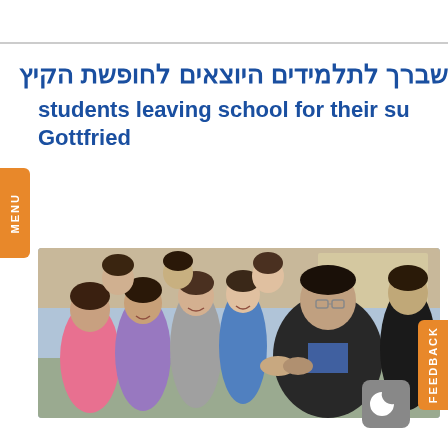שברך לתלמידים היוצאים לחופשת הקיץ students leaving school for their su Gottfried
[Figure (photo): A man shaking hands with elementary school students in a classroom setting. Multiple children of various ages surround him, smiling. The man is wearing a dark jacket over a blue shirt.]
MENU
FEEDBACK